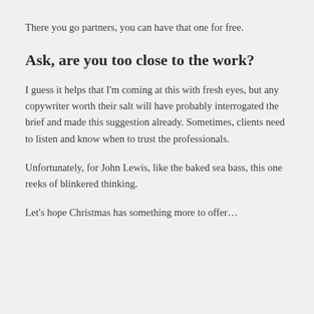There you go partners, you can have that one for free.
Ask, are you too close to the work?
I guess it helps that I'm coming at this with fresh eyes, but any copywriter worth their salt will have probably interrogated the brief and made this suggestion already. Sometimes, clients need to listen and know when to trust the professionals.
Unfortunately, for John Lewis, like the baked sea bass, this one reeks of blinkered thinking.
Let's hope Christmas has something more to offer…